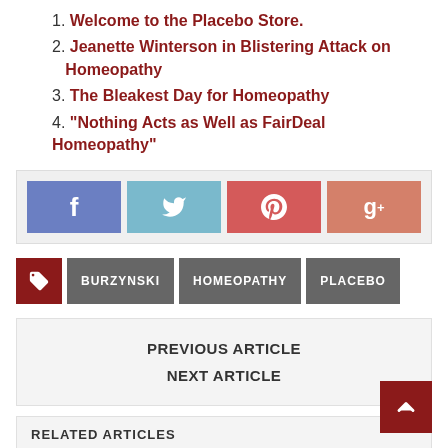Welcome to the Placebo Store.
Jeanette Winterson in Blistering Attack on Homeopathy
The Bleakest Day for Homeopathy
“Nothing Acts as Well as FairDeal Homeopathy”
[Figure (infographic): Social sharing buttons: Facebook (blue), Twitter (light blue), Pinterest (red), Google+ (salmon/coral)]
BURZYNSKI  HOMEOPATHY  PLACEBO
PREVIOUS ARTICLE
NEXT ARTICLE
RELATED ARTICLES
Liverpool NHS PCT Offering Quack Mysticism as Cancer Cure